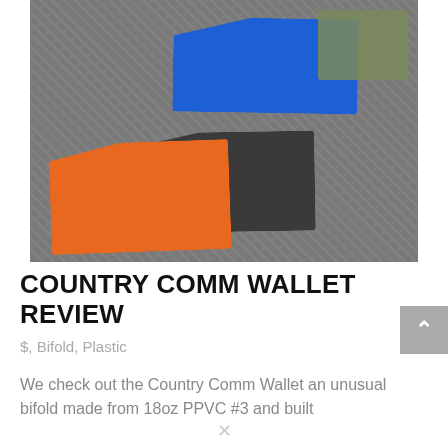[Figure (photo): Three wallets (orange, dark gray, and blue) fanned out on a woven gray textile background, with a camouflage-patterned wallet partially visible in the upper right corner.]
COUNTRY COMM WALLET REVIEW
$, Bifold, Plastic
We check out the Country Comm Wallet an unusual bifold made from 18oz PPVC #3 and built